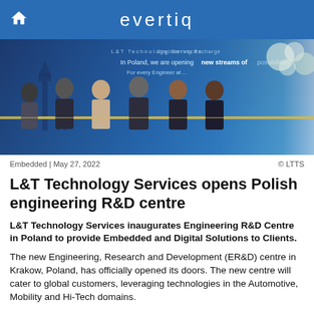evertiq
[Figure (photo): Six people standing in a row at a ribbon-cutting ceremony in front of a blue backdrop that reads 'In Poland, we are opening new streams of possibilities — For every Engineer at...' The attendees are dressed in formal and business attire.]
© LTTS
Embedded | May 27, 2022
L&T Technology Services opens Polish engineering R&D centre
L&T Technology Services inaugurates Engineering R&D Centre in Poland to provide Embedded and Digital Solutions to Clients.
The new Engineering, Research and Development (ER&D) centre in Krakow, Poland, has officially opened its doors. The new centre will cater to global customers, leveraging technologies in the Automotive, Mobility and Hi-Tech domains.